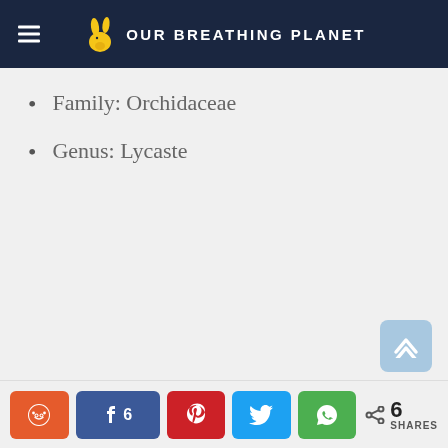OUR BREATHING PLANET
Family: Orchidaceae
Genus: Lycaste
6 SHARES